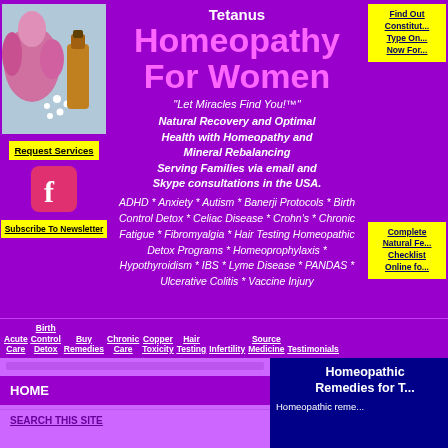[Figure (photo): Homeopathic remedies with echinacea flower and small white pellets, amber glass bottle]
Request Services
[Figure (logo): Facebook logo icon in pink/red]
Subscribe To Newsletter
Find Out Constitutional Type Online Now For...
Tetanus
Homeopathy For Women
"Let Miracles Find You!™"
Natural Recovery and Optimal Health with Homeopathy and Mineral Rebalancing Serving Families via email and Skype consultations in the USA.
ADHD * Anxiety * Autism * Banerji Protocols * Birth Control Detox * Celiac Disease * Crohn's * Chronic Fatigue * Fibromyalgia * Hair Testing Homeopathic Detox Programs * Homeoprophylaxis * Hypothyroidism * IBS * Lyme Disease * PANDAS * Ulcerative Colitis * Vaccine Injury
Complete Natural Fertility Checklist Online fo...
Acute Care
Birth Control Detox
Buy Remedies
Chronic Care
Copper Toxicity
Hair Testing
Infertility
Source Medicine
Testimonials
HOME
SEARCH THIS SITE
Homeopathic Remedies for Tetanus
Homeopathic remedies...